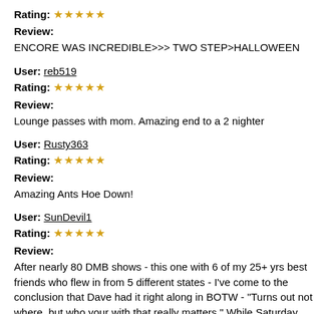Rating: ☆☆☆☆☆
Review:
ENCORE WAS INCREDIBLE>>> TWO STEP>HALLOWEEN
User: reb519
Rating: ☆☆☆☆☆
Review:
Lounge passes with mom. Amazing end to a 2 nighter
User: Rusty363
Rating: ☆☆☆☆☆
Review:
Amazing Ants Hoe Down!
User: SunDevil1
Rating: ☆☆☆☆☆
Review:
After nearly 80 DMB shows - this one with 6 of my 25+ yrs best friends who flew in from 5 different states - I've come to the conclusion that Dave had it right along in BOTW - "Turns out not where, but who your with that really matters." While Saturday felt much cooler than Friday night, it was still Africa hot, but that just didn't seem to matter. The band could have easily phoned it in with all that heat, but they delivered another powerful set. One of